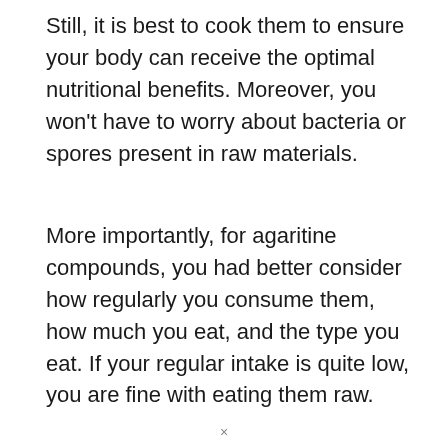Still, it is best to cook them to ensure your body can receive the optimal nutritional benefits. Moreover, you won't have to worry about bacteria or spores present in raw materials.
More importantly, for agaritine compounds, you had better consider how regularly you consume them, how much you eat, and the type you eat. If your regular intake is quite low, you are fine with eating them raw.
[Figure (photo): A circular cropped photo showing a bowl or plate with colorful fresh berries and fruits including strawberries, blueberries, and red currants with green leaves on a white background.]